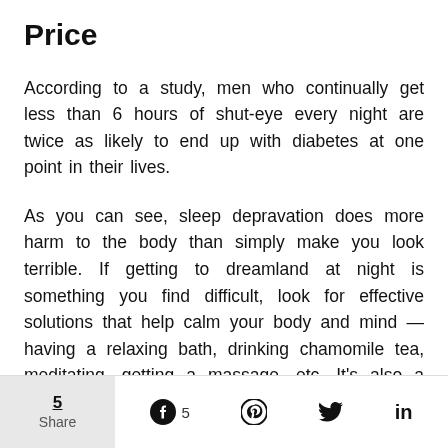Price
According to a study, men who continually get less than 6 hours of shut-eye every night are twice as likely to end up with diabetes at one point in their lives.
As you can see, sleep depravation does more harm to the body than simply make you look terrible. If getting to dreamland at night is something you find difficult, look for effective solutions that help calm your body and mind — having a relaxing bath, drinking chamomile tea, meditating, getting a massage, etc. It's also a good idea to consult your doctor to see if a medical problem is the one causing your inability to get
5 Share  5  in